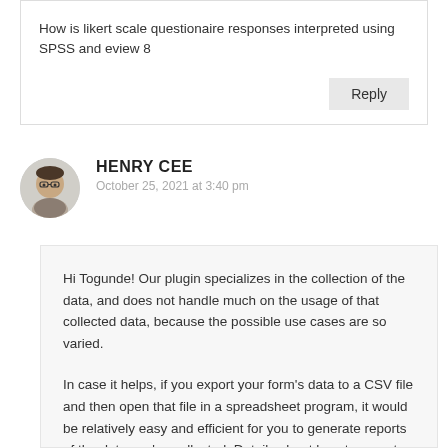How is likert scale questionaire responses interpreted using SPSS and eview 8
Reply
HENRY CEE
October 25, 2021 at 3:40 pm
Hi Togunde! Our plugin specializes in the collection of the data, and does not handle much on the usage of that collected data, because the possible use cases are so varied.
In case it helps, if you export your form's data to a CSV file and then open that file in a spreadsheet program, it would be relatively easy and efficient for you to generate reports of the data you've collected. Details about how to export your form's entry data